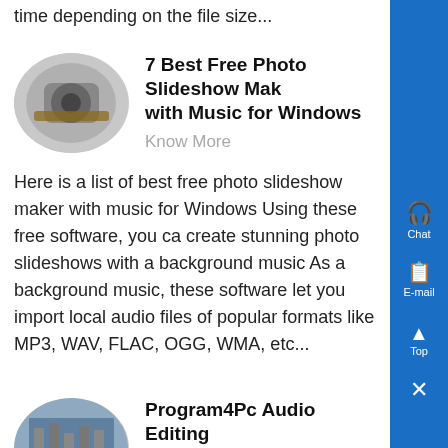time depending on the file size...
[Figure (photo): Circular thumbnail image of industrial machinery/equipment]
7 Best Free Photo Slideshow Makers with Music for Windows
Know More
Here is a list of best free photo slideshow maker with music for Windows Using these free software, you can create stunning photo slideshows with a background music As a background music, these software let you import local audio files of popular formats like MP3, WAV, FLAC, OGG, WMA, etc...
[Figure (photo): Circular thumbnail image of industrial construction site or platform]
Program4Pc Audio Editing Software Music, Sound MP3 Editor
Know More
Download audio editing software to edit music, MP3, M4A, WAV, or other audio fil Convert, and compress